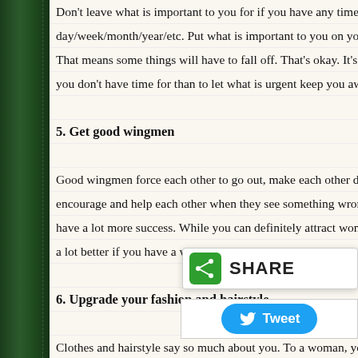Don't leave what is important to you for if you have any time left at the day/week/month/year/etc. Put what is important to you on your schedule. That means some things will have to fall off. That's okay. It's much better you don't have time for than to let what is urgent keep you away from
5. Get good wingmen
Good wingmen force each other to go out, make each other do their approaches, encourage and help each other when they see something wrong. Good wingmen have a lot more success. While you can definitely attract women when alone, it's a lot better if you have a wingman to help you out. And more fun too!
6. Upgrade your fashion and hairstyle
Clothes and hairstyle say so much about you. To a woman, your clothes are a choice – and she wants to know what they say about you. Are you fashionable or out of touch and lame? Are you fun and fresh and exciting? Or boring and don't care about yourself? Do you respect yourself and have attention to detail? Or do just not care? Make 2012 the year you get your "look" SOLVED if they're not already.
7. Be man enough to get help
Most men aren't good at this. Women do it naturally – they seek out advice all the time – and get much more